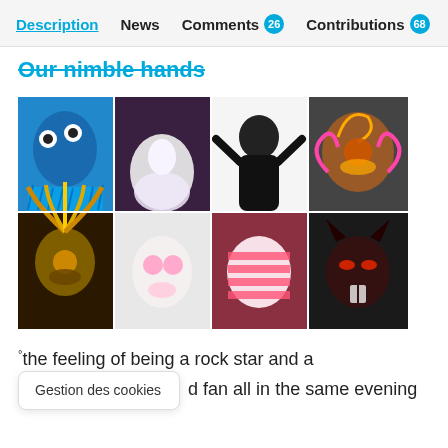Description  News  Comments 26  Contributions 68
Our nimble hands
[Figure (photo): A 2x4 grid of 8 photographs showing various elaborate costume masks and artistic/theatrical costumes: a blue fringed mask, a white feathered skirt, a person in a dramatic black bodysuit, a glowing pink/orange creature mask, a golden feathered headdress mask, a white mask with pink roses, a pink and white striped mask/costume, and a dark cat-like mask.]
°the feeling of being a rock star and a fan all in the same evening
Gestion des cookies